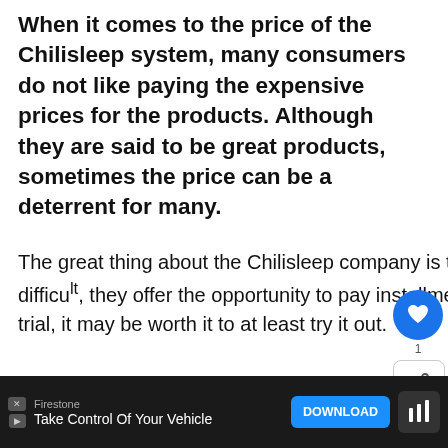When it comes to the price of the Chilisleep system, many consumers do not like paying the expensive prices for the products. Although they are said to be great products, sometimes the price can be a deterrent for many.
The great thing about the Chilisleep company is that if you find paying the full price upfront difficult, they offer the opportunity to pay installment payments. Between that and the 90-night trial, it may be worth it to at least try it out.
If ... en you m... h since
[Figure (screenshot): UI overlay showing a heart/like button (blue circle with heart icon), a count of 1, a share button, and a 'What's Next' widget showing 'How to Limit Bandwidth o...' with a thumbnail image]
[Figure (screenshot): Bottom advertisement bar for Firestone 'Take Control Of Your Vehicle' with a Download button and app logo]